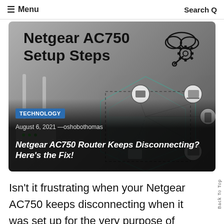≡ Menu   Search Q
[Figure (illustration): Hero banner for Netgear AC750 Setup Steps article with router image, network diagram showing home connectivity, cloud/gear icon, category tag 'TECHNOLOGY', date/author 'August 6, 2021 —oshobothomas', and bold italic article title 'Netgear AC750 Router Keeps Disconnecting? Here's the Fix!']
Isn't it frustrating when your Netgear AC750 keeps disconnecting when it was set up for the very purpose of providing you with a blazing-